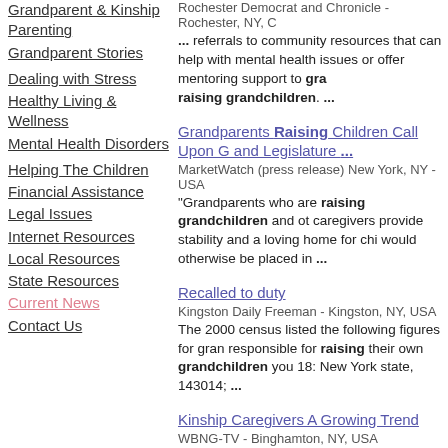Grandparent & Kinship Parenting
Grandparent Stories
Dealing with Stress
Healthy Living & Wellness
Mental Health Disorders
Helping The Children
Financial Assistance
Legal Issues
Internet Resources
Local Resources
State Resources
Current News
Contact Us
Rochester Democrat and Chronicle - Rochester, NY, ... referrals to community resources that can help with mental health issues or offer mentoring support to grandparents raising grandchildren. ...
Grandparents Raising Children Call Upon and Legislature ...
MarketWatch (press release) New York, NY - USA
"Grandparents who are raising grandchildren and other caregivers provide stability and a loving home for children who would otherwise be placed in ...
Recalled to duty
Kingston Daily Freeman - Kingston, NY, USA
The 2000 census listed the following figures for grandparents responsible for raising their own grandchildren younger than 18: New York state, 143014; ...
Kinship Caregivers A Growing Trend
WBNG-TV - Binghamton, NY, USA
Kinship caregivers are grandparents, aunts, uncles and others raising a relatives child. The US Census saw a 30% increase the last decade, ...
NYC Grandparents Raising Grandchildren Convene for International ...